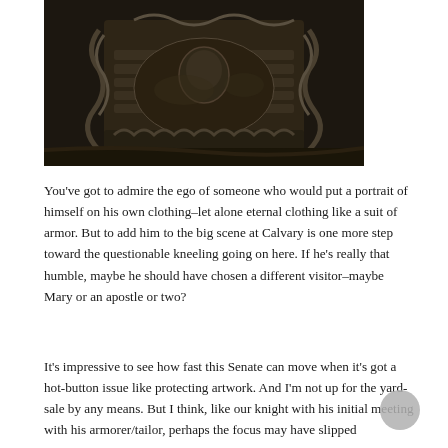[Figure (illustration): Close-up detail of an ornately engraved suit of armor showing decorative metalwork with scrolling patterns and figures, photographed in dark metallic tones]
You've got to admire the ego of someone who would put a portrait of himself on his own clothing–let alone eternal clothing like a suit of armor.  But to add him to the big scene at Calvary is one more step toward the questionable kneeling going on here.  If he's really that humble, maybe he should have chosen a different visitor–maybe Mary or an apostle or two?
It's impressive to see how fast this Senate can move when it's got a hot-button issue like protecting artwork.  And I'm not up for the yard-sale by any means.  But I think, like our knight with his initial meeting with his armorer/tailor, perhaps the focus may have slipped